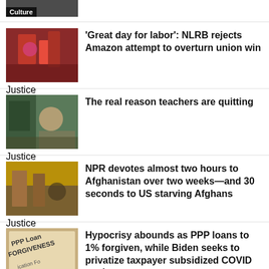[Figure (photo): Partial news thumbnail with Culture category tag]
[Figure (photo): People at rally, Justice category tag]
'Great day for labor': NLRB rejects Amazon attempt to overturn union win
[Figure (photo): Teacher at chalkboard, Justice category tag]
The real reason teachers are quitting
[Figure (photo): Street scene Afghanistan, Justice category tag]
NPR devotes almost two hours to Afghanistan over two weeks—and 30 seconds to US starving Afghans
[Figure (photo): PPP Loan Forgiveness document, Health category tag]
Hypocrisy abounds as PPP loans to 1% forgiven, while Biden seeks to privatize taxpayer subsidized COVID meds...
[Figure (photo): EPA related image]
EPA names PFOA and PFOS as hazardous